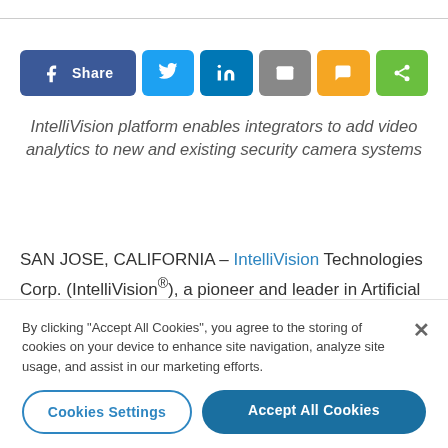[Figure (infographic): Social sharing buttons bar: Facebook Share, Twitter, LinkedIn, Email, SMS, Share icons]
IntelliVision platform enables integrators to add video analytics to new and existing security camera systems
SAN JOSE, CALIFORNIA – IntelliVision Technologies Corp. (IntelliVision®), a pioneer and leader in Artificial Intelligence and deep learning video analytics software for Smart Cameras, and a subsidiary of Nortek Security
By clicking "Accept All Cookies", you agree to the storing of cookies on your device to enhance site navigation, analyze site usage, and assist in our marketing efforts.
Cookies Settings
Accept All Cookies